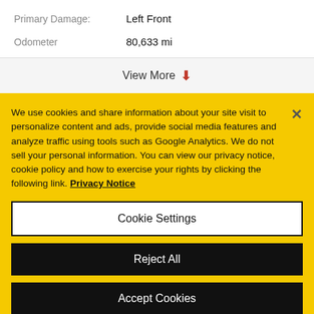Primary Damage: Left Front
Odometer 80,633 mi
View More
We use cookies and share information about your site visit to personalize content and ads, provide social media features and analyze traffic using tools such as Google Analytics. We do not sell your personal information. You can view our privacy notice, cookie policy and how to exercise your rights by clicking the following link. Privacy Notice
Cookie Settings
Reject All
Accept Cookies